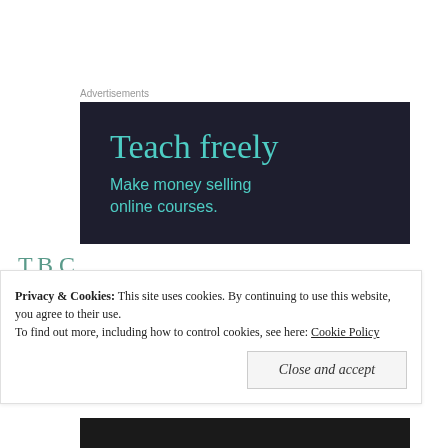Advertisements
[Figure (screenshot): Advertisement banner with dark navy background showing 'Teach freely' in teal large text and 'Make money selling online courses.' in smaller teal text below]
T.B.C...
Advertisements
Privacy & Cookies: This site uses cookies. By continuing to use this website, you agree to their use.
To find out more, including how to control cookies, see here: Cookie Policy
Close and accept